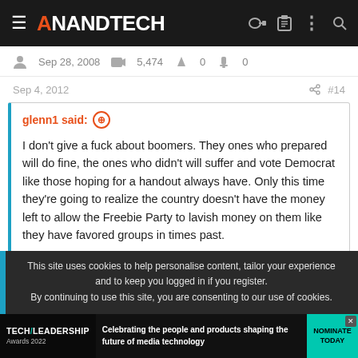AnandTech
Sep 28, 2008   5,474   0   0
Sep 4, 2012   #14
glenn1 said: ↑

I don't give a fuck about boomers. They ones who prepared will do fine, the ones who didn't will suffer and vote Democrat like those hoping for a handout always have. Only this time they're going to realize the country doesn't have the money left to allow the Freebie Party to lavish money on them like they have favored groups in times past.
This site uses cookies to help personalise content, tailor your experience and to keep you logged in if you register.
By continuing to use this site, you are consenting to our use of cookies.
[Figure (screenshot): Tech Leadership Awards 2022 advertisement banner: Celebrating the people and products shaping the future of media technology. NOMINATE TODAY button.]